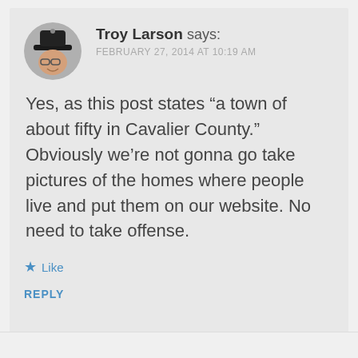Troy Larson says:
FEBRUARY 27, 2014 AT 10:19 AM
Yes, as this post states “a town of about fifty in Cavalier County.” Obviously we’re not gonna go take pictures of the homes where people live and put them on our website. No need to take offense.
Like
REPLY